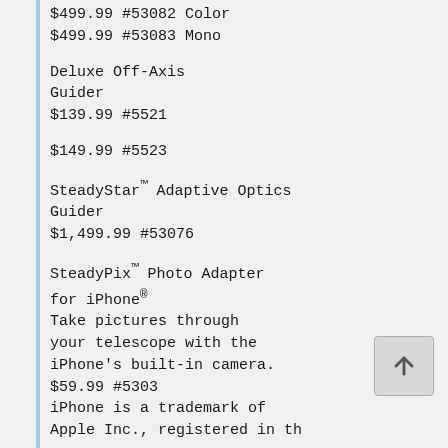$499.99 #53082 Color
$499.99 #53083 Mono
Deluxe Off-Axis Guider
$139.99 #5521
$149.99 #5523
SteadyStar™ Adaptive Optics Guider
$1,499.99 #53076
SteadyPix™ Photo Adapter for iPhone®
Take pictures through your telescope with the iPhone's built-in camera.
$59.99 #5303
iPhone is a trademark of Apple Inc., registered in the